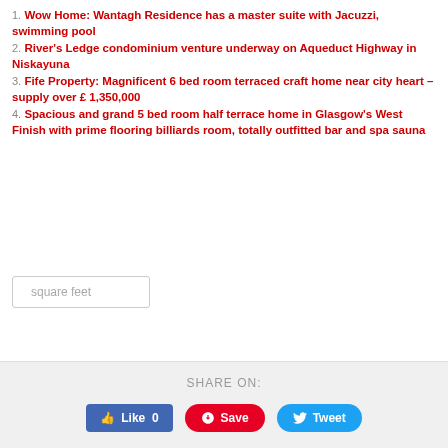1. Wow Home: Wantagh Residence has a master suite with Jacuzzi, swimming pool
2. River's Ledge condominium venture underway on Aqueduct Highway in Niskayuna
3. Fife Property: Magnificent 6 bed room terraced craft home near city heart – supply over £ 1,350,000
4. Spacious and grand 5 bed room half terrace home in Glasgow's West Finish with prime flooring billiards room, totally outfitted bar and spa sauna
square feet
SHARE ON:
Like 0  Save  Tweet